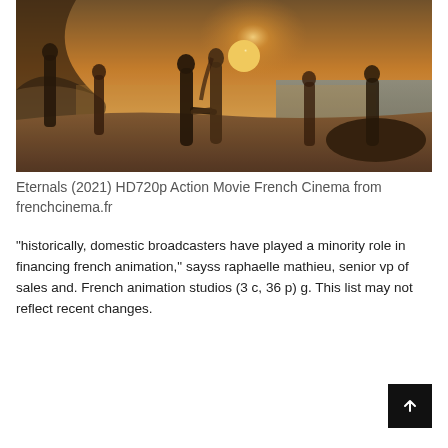[Figure (photo): Movie still from Eternals (2021) showing silhouetted figures on a beach at sunset with golden hazy light, two figures shaking hands in the center]
Eternals (2021) HD720p Action Movie French Cinema from frenchcinema.fr
“historically, domestic broadcasters have played a minority role in financing french animation,” sayss raphaelle mathieu, senior vp of sales and. French animation studios (3 c, 36 p) g. This list may not reflect recent changes.